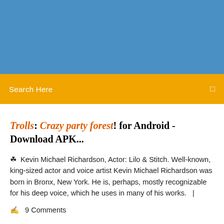[Figure (other): Blue header banner background]
Search Here
Trolls: Crazy party forest! for Android - Download APK...
Kevin Michael Richardson, Actor: Lilo & Stitch. Well-known, king-sized actor and voice artist Kevin Michael Richardson was born in Bronx, New York. He is, perhaps, mostly recognizable for his deep voice, which he uses in many of his works.   |
9 Comments